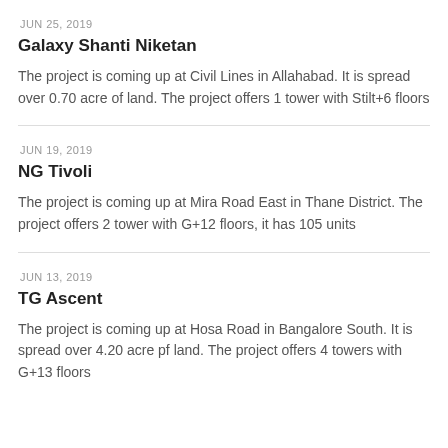JUN 25, 2019
Galaxy Shanti Niketan
The project is coming up at Civil Lines in Allahabad. It is spread over 0.70 acre of land. The project offers 1 tower with Stilt+6 floors
JUN 19, 2019
NG Tivoli
The project is coming up at Mira Road East in Thane District. The project offers 2 tower with G+12 floors, it has 105 units
JUN 13, 2019
TG Ascent
The project is coming up at Hosa Road in Bangalore South. It is spread over 4.20 acre pf land. The project offers 4 towers with G+13 floors